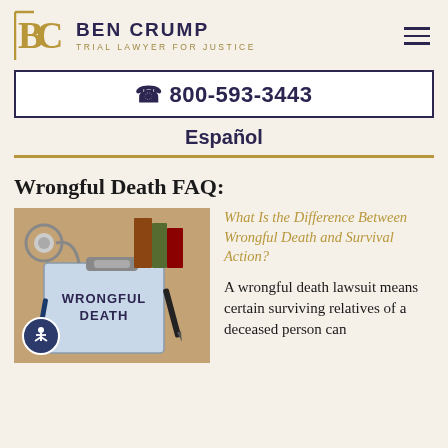[Figure (logo): Ben Crump Trial Lawyer for Justice logo with BC monogram in gold and firm name in dark navy]
☎ 800-593-3443
Español
Wrongful Death FAQ:
[Figure (photo): A clipboard with 'WRONGFUL DEATH' text, a stethoscope, books, and a pen on a desk]
What Is the Difference Between Wrongful Death and Survival Action?
A wrongful death lawsuit means certain surviving relatives of a deceased person can